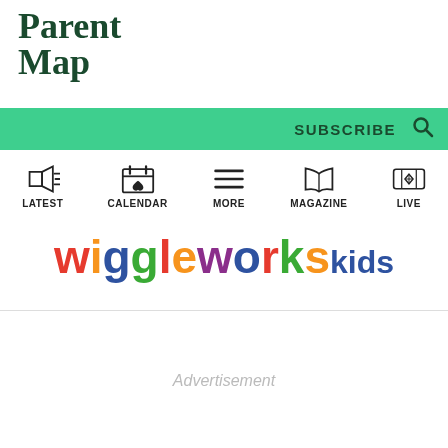[Figure (logo): ParentMap logo — bold serif text reading 'Parent Map' in dark green]
SUBSCRIBE
[Figure (infographic): Navigation bar with icons: LATEST (megaphone), CALENDAR (calendar with heart), MORE (hamburger menu), MAGAZINE (open book), LIVE (ticket with star)]
[Figure (logo): WiggleWorks Kids logo in colorful bold rounded letters]
Advertisement